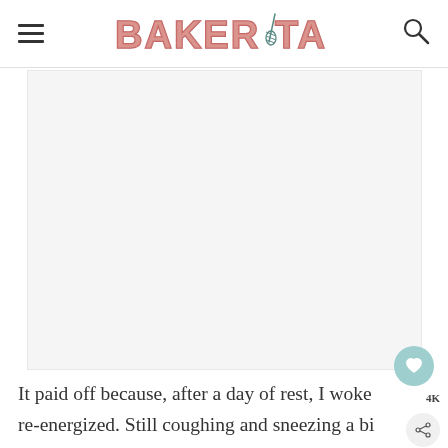BAKERITA
[Figure (photo): Large image placeholder area with light gray background, likely a food photo]
It paid off because, after a day of rest, I woke re-energized. Still coughing and sneezing a bi but also totally antsy to get out of my